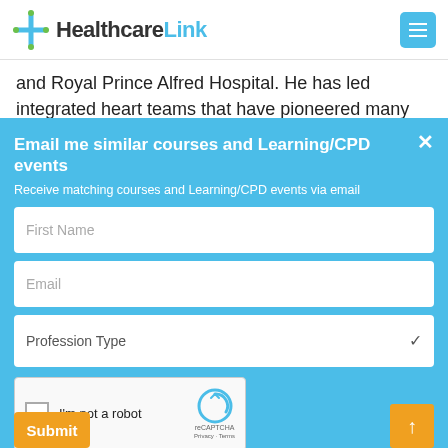HealthcareLink
and Royal Prince Alfred Hospital. He has led integrated heart teams that have pioneered many world firsts in keyhole treatment of major heart valve disease. Martin is a
Email me similar courses and Learning/CPD events
Receive matching courses and Learning/CPD events via email
First Name
Email
Profession Type
I'm not a robot
Submit